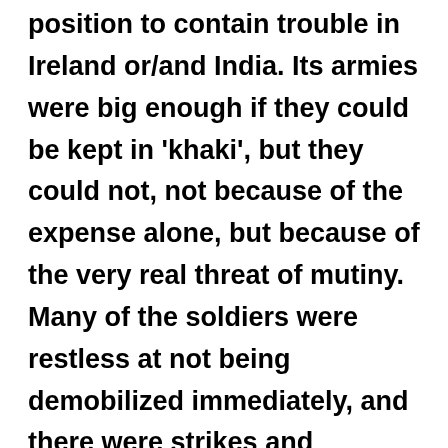position to contain trouble in Ireland or/and India. Its armies were big enough if they could be kept in 'khaki', but they could not, not because of the expense alone, but because of the very real threat of mutiny. Many of the soldiers were restless at not being demobilized immediately, and there were strikes and mutinies both in Britain and France.